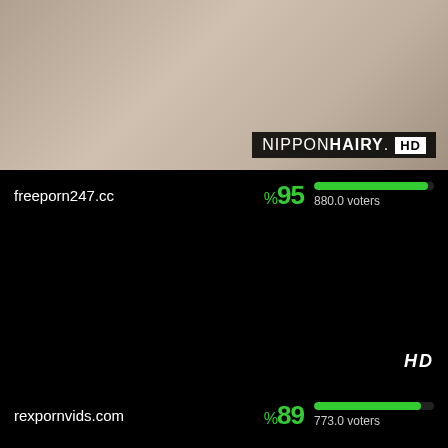[Figure (screenshot): Thumbnail image of a video with NIPPONHAIRY HD badge overlay]
freeporn247.cc
%95  880.0 voters
[Figure (screenshot): Black video thumbnail area with HD badge]
rexpornvids.com
%89  773.0 voters